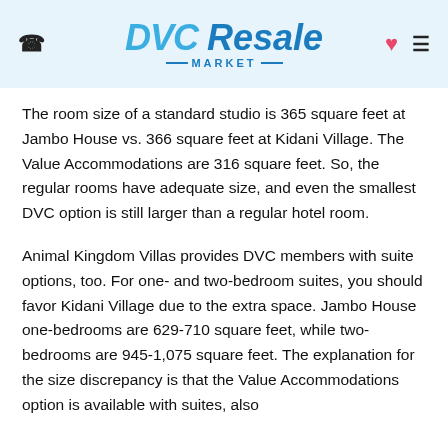DVC Resale Market
The room size of a standard studio is 365 square feet at Jambo House vs. 366 square feet at Kidani Village. The Value Accommodations are 316 square feet. So, the regular rooms have adequate size, and even the smallest DVC option is still larger than a regular hotel room.
Animal Kingdom Villas provides DVC members with suite options, too. For one- and two-bedroom suites, you should favor Kidani Village due to the extra space. Jambo House one-bedrooms are 629-710 square feet, while two-bedrooms are 945-1,075 square feet. The explanation for the size discrepancy is that the Value Accommodations option is available with suites, also